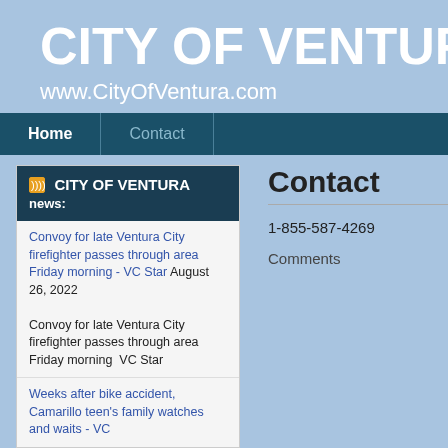CITY OF VENTURA, CA
www.CityOfVentura.com
Home | Contact
CITY OF VENTURA news:
Convoy for late Ventura City firefighter passes through area Friday morning - VC Star August 26, 2022
Convoy for late Ventura City firefighter passes through area Friday morning VC Star
Weeks after bike accident, Camarillo teen's family watches and waits - VC
Contact
1-855-587-4269
Comments